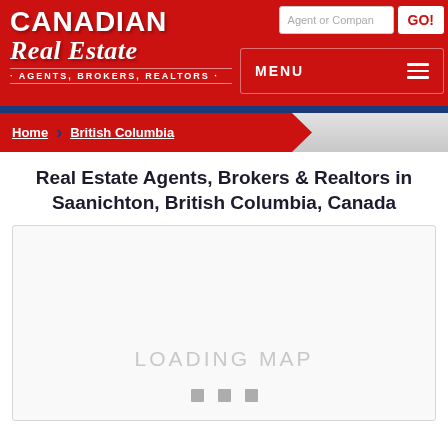CANADIAN REAL ESTATE · AGENTS, BROKERS, REALTORS ·
Home > British Columbia
Real Estate Agents, Brokers & Realtors in Saanichton, British Columbia, Canada
[Figure (map): Loading map placeholder with 'LOADING MAP' text and three loading indicator dots]